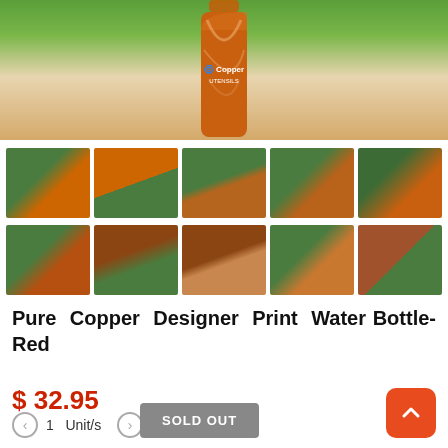[Figure (photo): Main product photo of Pure Copper Designer Print Water Bottle-Red with Copper Utensils logo, green leafy background]
[Figure (photo): Grid of 10 thumbnail images showing various views of the copper water bottle]
Pure Copper Designer Print Water Bottle-Red
$ 32.95
1   Unit/s   SOLD OUT